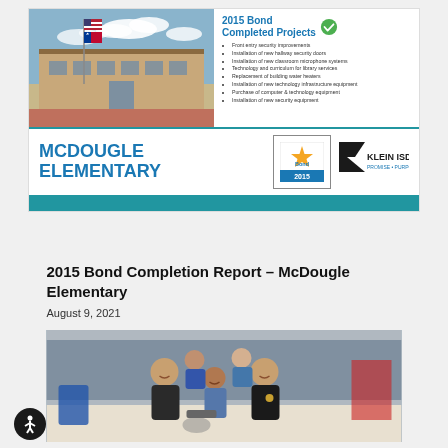[Figure (photo): School building exterior with flags and blue sky]
2015 Bond Completed Projects
Front entry security improvements
Installation of new hallway security doors
Installation of new classroom microphone systems
Technology and curriculum for library services
Replacement of building water heaters
Installation of new technology infrastructure equipment
Purchase of computer & technology equipment
Installation of new security equipment
MCDOUGLE ELEMENTARY
[Figure (logo): 2015 Bond star logo]
[Figure (logo): Klein ISD Promise Purpose logo]
2015 Bond Completion Report – McDougle Elementary
August 9, 2021
[Figure (photo): Group photo of people smiling together in a store]